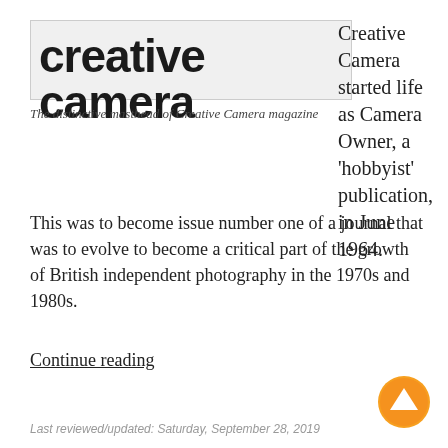[Figure (photo): The distinctive masthead/logo of Creative Camera magazine, showing bold heavy black serif lettering on a light background]
The distinctive masthead of Creative Camera magazine
Creative Camera started life as Camera Owner, a 'hobbyist' publication, in June 1964.
This was to become issue number one of a journal that was to evolve to become a critical part of the growth of British independent photography in the 1970s and 1980s.
Continue reading
Last reviewed/updated: Saturday, September 28, 2019